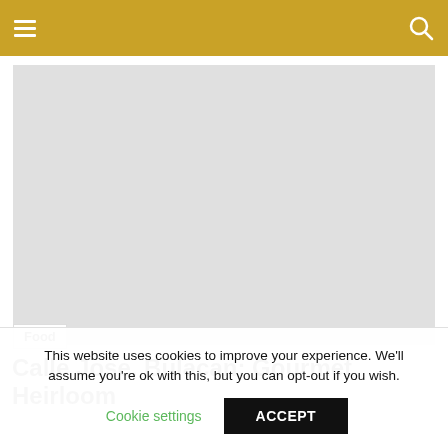[Figure (photo): Large hero image placeholder with light gray background]
Food
Calle Jose, Bulacan: Gourmet Heirloom
This website uses cookies to improve your experience. We'll assume you're ok with this, but you can opt-out if you wish.
Cookie settings   ACCEPT